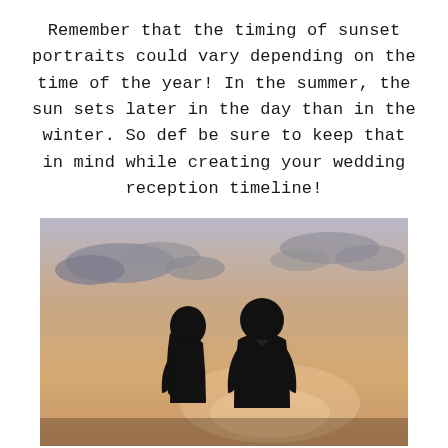Remember that the timing of sunset portraits could vary depending on the time of the year! In the summer, the sun sets later in the day than in the winter. So def be sure to keep that in mind while creating your wedding reception timeline!
[Figure (photo): Silhouette of a couple facing each other against a warm sunset sky with clouds, golden and peach tones in the background.]